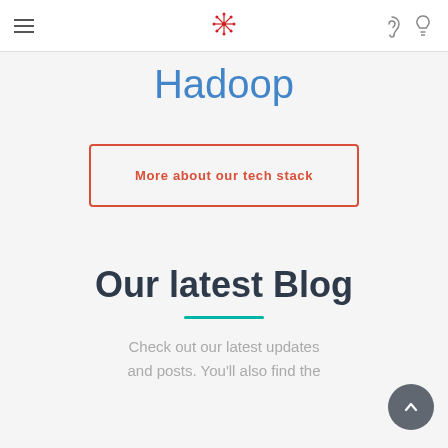Navigation bar with hamburger menu, Hadoop logo icon, accessibility and lightbulb icons
Hadoop
More about our tech stack
Our latest Blog
Check out our latest updates and posts. You'll also find the